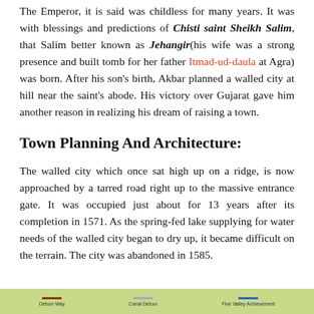The Emperor, it is said was childless for many years. It was with blessings and predictions of Chisti saint Sheikh Salim, that Salim better known as Jehangir(his wife was a strong presence and built tomb for her father Itmad-ud-daula at Agra) was born. After his son's birth, Akbar planned a walled city at hill near the saint's abode. His victory over Gujarat gave him another reason in realizing his dream of raising a town.
Town Planning And Architecture:
The walled city which once sat high up on a ridge, is now approached by a tarred road right up to the massive entrance gate. It was occupied just about for 13 years after its completion in 1571. As the spring-fed lake supplying for water needs of the walled city began to dry up, it became difficult on the terrain. The city was abandoned in 1585.
[Figure (map): Partial map strip at bottom of page showing legend items including route lines and labels like 'Detour Way', 'Canal Detour', and 'Five Valley Achievement']